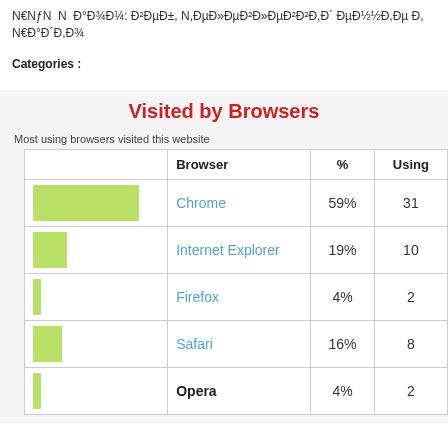N€NƒN  N  Ð°Ð¾Ð¼: Ð²ÐµÐ±, N,ÐµÐ»ÐµÐ²Ð²Ð, Ð´ ÐµÐ½½Ð,Ðµ Ð, N€Ð°Ð´Ð,Ð¾
Categories :
Visited by Browsers
Most using browsers visited this website
|  | Browser | % | Using |
| --- | --- | --- | --- |
| [bar] | Chrome | 59% | 31 |
| [bar] | Internet Explorer | 19% | 10 |
| [bar] | Firefox | 4% | 2 |
| [bar] | Safari | 16% | 8 |
| [bar] | Opera | 4% | 2 |